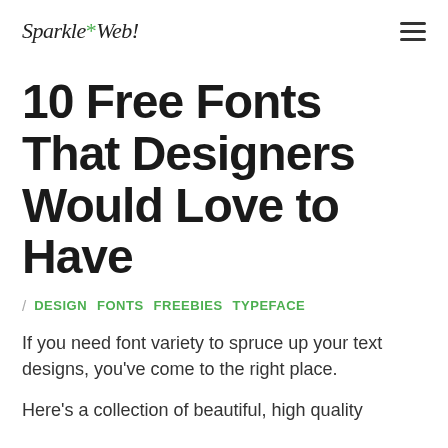Sparkle*Web!
10 Free Fonts That Designers Would Love to Have
DESIGN  FONTS  FREEBIES  TYPEFACE
If you need font variety to spruce up your text designs, you've come to the right place.
Here's a collection of beautiful, high quality